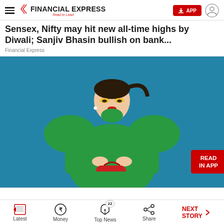FINANCIAL EXPRESS — Read to Lead
Sensex, Nifty may hit new all-time highs by Diwali; Sanjiv Bhasin bullish on bank...
Financial Express
[Figure (photo): Woman in green turtleneck top with dramatic yellow eye makeup and red lips, holding a red bag, posing against a blue background. READ IN APP badge overlaid on bottom right.]
Latest | Money | Top News | Share | NEXT STORY